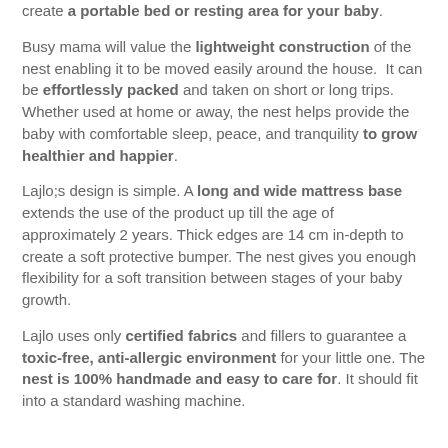create a portable bed or resting area for your baby.
Busy mama will value the lightweight construction of the nest enabling it to be moved easily around the house. It can be effortlessly packed and taken on short or long trips. Whether used at home or away, the nest helps provide the baby with comfortable sleep, peace, and tranquility to grow healthier and happier.
Lajlo;s design is simple. A long and wide mattress base extends the use of the product up till the age of approximately 2 years. Thick edges are 14 cm in-depth to create a soft protective bumper. The nest gives you enough flexibility for a soft transition between stages of your baby growth.
Lajlo uses only certified fabrics and fillers to guarantee a toxic-free, anti-allergic environment for your little one. The nest is 100% handmade and easy to care for. It should fit into a standard washing machine.